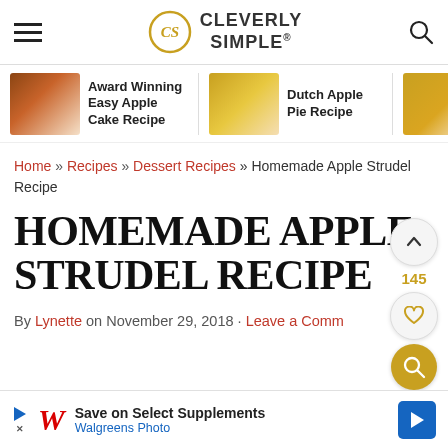Cleverly Simple® — site navigation header with hamburger menu and search icon
[Figure (illustration): Three related recipe links with thumbnail images: Award Winning Easy Apple Cake Recipe, Dutch Apple Pie Recipe, and partially visible Ap Ca]
Home » Recipes » Dessert Recipes » Homemade Apple Strudel Recipe
HOMEMADE APPLE STRUDEL RECIPE
By Lynette on November 29, 2018 · Leave a Comm...
[Figure (infographic): Walgreens Photo ad banner: Save on Select Supplements]
[Figure (illustration): Floating right-side buttons: up arrow button, 145 save count, heart/save button, gold search button]